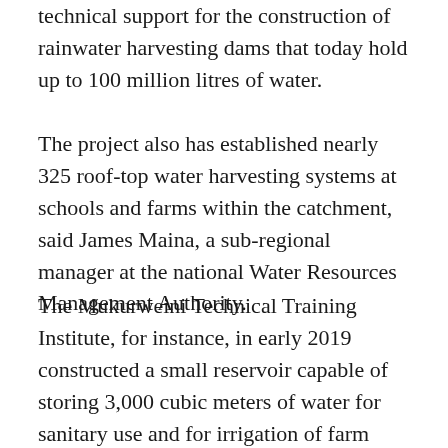technical support for the construction of rainwater harvesting dams that today hold up to 100 million litres of water.
The project also has established nearly 325 roof-top water harvesting systems at schools and farms within the catchment, said James Maina, a sub-regional manager at the national Water Resources Management Authority.
The Mukurweini Technical Training Institute, for instance, in early 2019 constructed a small reservoir capable of storing 3,000 cubic meters of water for sanitary use and for irrigation of farm plots on its campus.